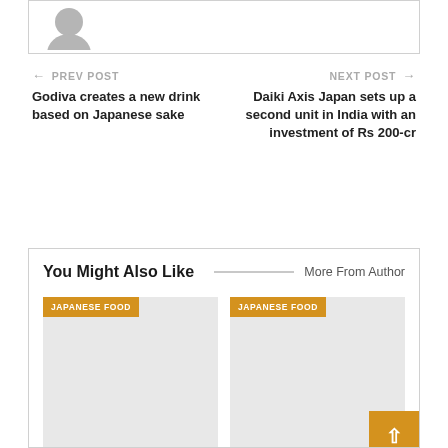[Figure (illustration): Top partial box with a grey avatar/person silhouette placeholder]
← PREV POST
Godiva creates a new drink based on Japanese sake
NEXT POST →
Daiki Axis Japan sets up a second unit in India with an investment of Rs 200-cr
You Might Also Like
More From Author
[Figure (illustration): Card placeholder with JAPANESE FOOD tag and grey image area]
[Figure (illustration): Card placeholder with JAPANESE FOOD tag and grey image area]